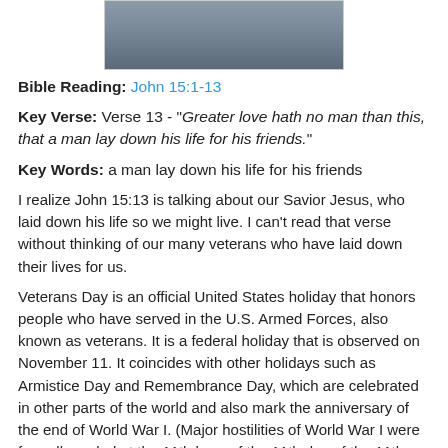[Figure (photo): Photo of people in military or ceremonial setting with a flag, partially visible at top of page]
Bible Reading: John 15:1-13
Key Verse: Verse 13 - "Greater love hath no man than this, that a man lay down his life for his friends."
Key Words: a man lay down his life for his friends
I realize John 15:13 is talking about our Savior Jesus, who laid down his life so we might live. I can't read that verse without thinking of our many veterans who have laid down their lives for us.
Veterans Day is an official United States holiday that honors people who have served in the U.S. Armed Forces, also known as veterans. It is a federal holiday that is observed on November 11. It coincides with other holidays such as Armistice Day and Remembrance Day, which are celebrated in other parts of the world and also mark the anniversary of the end of World War I. (Major hostilities of World War I were formally ended at the 11th hour of the 11th day of the 11th...